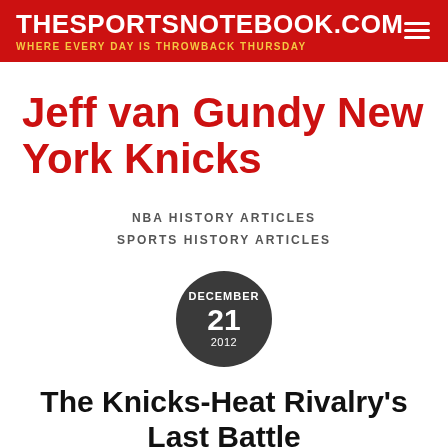THESPORTSNOTEBOOK.COM
WHERE EVERY DAY IS THROWBACK THURSDAY
Jeff van Gundy New York Knicks
NBA HISTORY ARTICLES
SPORTS HISTORY ARTICLES
DECEMBER 21 2012
The Knicks-Heat Rivalry's Last Battle